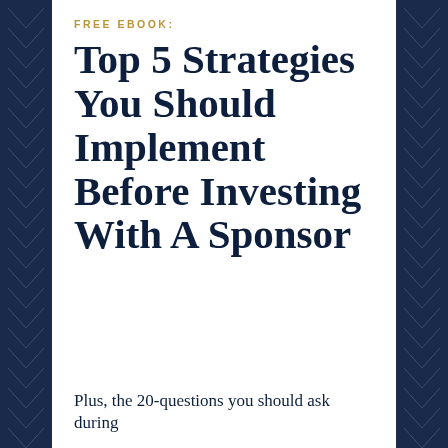FREE EBOOK:
Top 5 Strategies You Should Implement Before Investing With A Sponsor
Plus, the 20-questions you should ask during